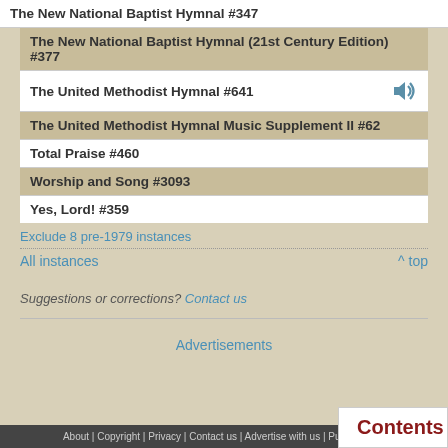The New National Baptist Hymnal #347
The New National Baptist Hymnal (21st Century Edition) #377
The United Methodist Hymnal #641
The United Methodist Hymnal Music Supplement II #62
Total Praise #460
Worship and Song #3093
Yes, Lord! #359
Exclude 8 pre-1979 instances
All instances    ^ top
Suggestions or corrections? Contact us
Advertisements
About | Copyright | Privacy | Contact us | Advertise with us | Publisher Pa...